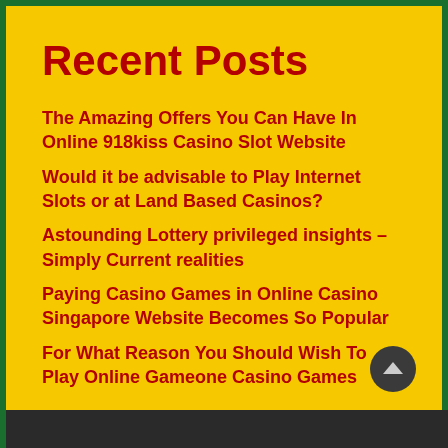Recent Posts
The Amazing Offers You Can Have In Online 918kiss Casino Slot Website
Would it be advisable to Play Internet Slots or at Land Based Casinos?
Astounding Lottery privileged insights – Simply Current realities
Paying Casino Games in Online Casino Singapore Website Becomes So Popular
For What Reason You Should Wish To Play Online Gameone Casino Games